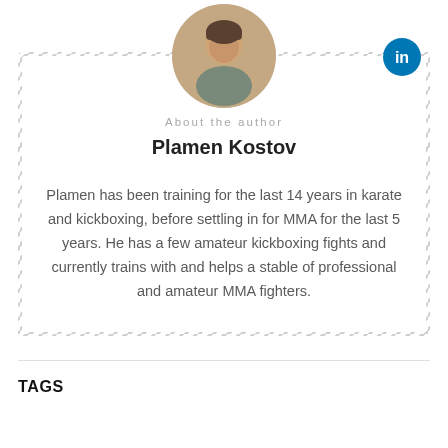[Figure (photo): Circular profile photo of Plamen Kostov]
[Figure (logo): LinkedIn blue circle icon with 'in' text]
About the author
Plamen Kostov
Plamen has been training for the last 14 years in karate and kickboxing, before settling in for MMA for the last 5 years. He has a few amateur kickboxing fights and currently trains with and helps a stable of professional and amateur MMA fighters.
TAGS